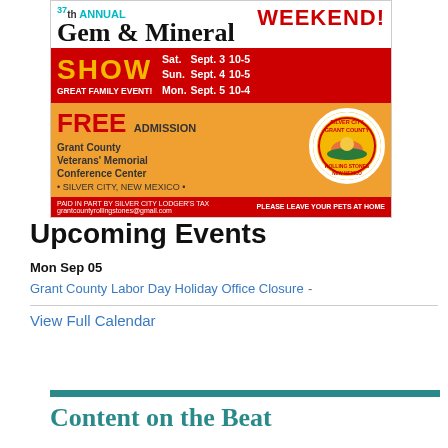[Figure (illustration): Advertisement for the 37th Annual Gem & Mineral Show Weekend at Grant County Veterans' Memorial Conference Center, Silver City, New Mexico. Dates: Sat Sept 3 10-5, Sun Sept 4 10-5, Mon Sept 5 10-4. Free Admission. Great Family Event. Paid in part by Silver City Lodger's Tax. Please leave your pets at home.]
Upcoming Events
Mon Sep 05
Grant County Labor Day Holiday Office Closure -
View Full Calendar
Content on the Beat